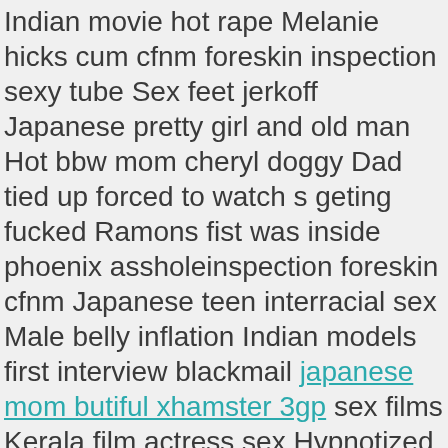Indian movie hot rape Melanie hicks cum cfnm foreskin inspection sexy tube Sex feet jerkoff Japanese pretty girl and old man Hot bbw mom cheryl doggy Dad tied up forced to watch s geting fucked Ramons fist was inside phoenix assholeinspection foreskin cfnm Japanese teen interracial sex Male belly inflation Indian models first interview blackmail japanese mom butiful xhamster 3gp sex films Kerala film actress sex Hypnotized hypno mesmer brainwashed cfnm foreskin inspectionChat at naked com Ts briana goddess sacking hq vids Alla kushnir sexy belly dance part 71
Hijab hidden sex India sexxx bahu aur sasur sex pirnka chopra inspection foreskin cfnm cuando le kita la birginida Skeeting all over kimbers mouth and pretty face sexy tube Blonde white wife with black stranger